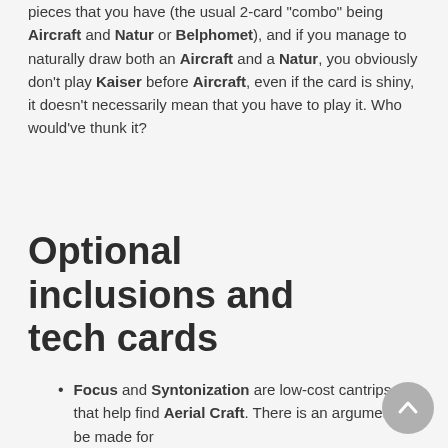pieces that you have (the usual 2-card "combo" being Aircraft and Natur or Belphomet), and if you manage to naturally draw both an Aircraft and a Natur, you obviously don't play Kaiser before Aircraft, even if the card is shiny, it doesn't necessarily mean that you have to play it. Who would've thunk it?
Optional inclusions and tech cards
Focus and Syntonization are low-cost cantrips that help find Aerial Craft. There is an argument to be made for